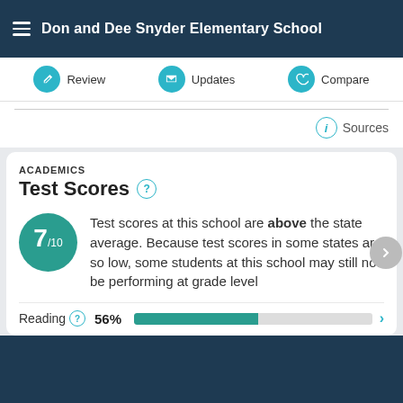Don and Dee Snyder Elementary School
Review  Updates  Compare
Sources
ACADEMICS
Test Scores
Test scores at this school are above the state average. Because test scores in some states are so low, some students at this school may still not be performing at grade level
Reading  56%